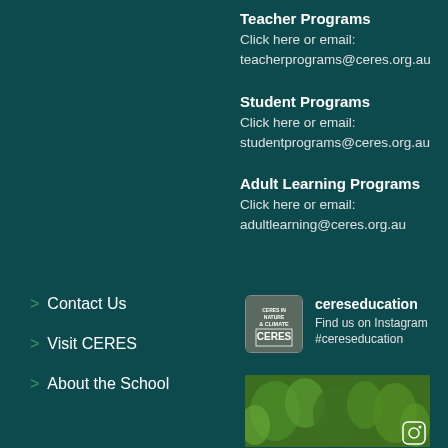Teacher Programs
Click here or email:
teacherprograms@ceres.org.au
Student Programs
Click here or email:
studentprograms@ceres.org.au
Adult Learning Programs
Click here or email:
adultlearning@ceres.org.au
Contact Us
Visit CERES
About the School
[Figure (logo): CERES Nature & Climate logo]
cereseducation
Find us on Instagram #cereseducation
[Figure (photo): Green plant leaves photo]